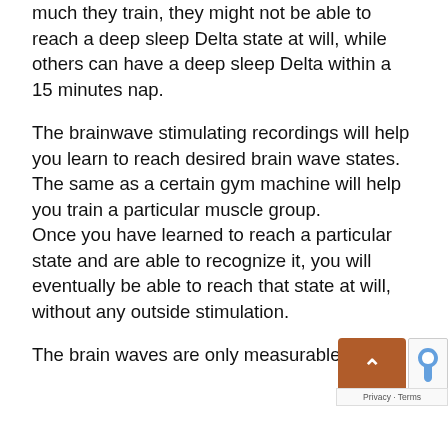much they train, they might not be able to reach a deep sleep Delta state at will, while others can have a deep sleep Delta within a 15 minutes nap.
The brainwave stimulating recordings will help you learn to reach desired brain wave states. The same as a certain gym machine will help you train a particular muscle group.
Once you have learned to reach a particular state and are able to recognize it, you will eventually be able to reach that state at will, without any outside stimulation.
The brain waves are only measurable